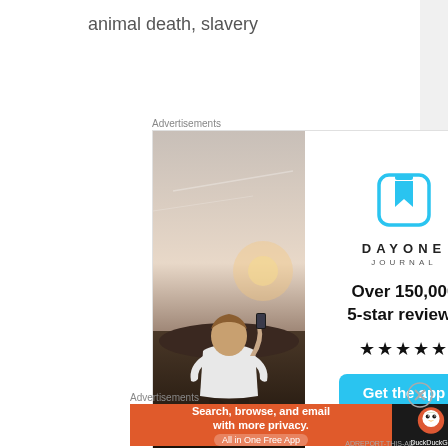animal death, slavery
Advertisements
[Figure (illustration): DayOne Journal advertisement with photo of person sitting on rock taking photo with phone, DayOne logo, 'Over 150,000 5-star reviews', stars, and 'Get the app' button]
Advertisements
[Figure (illustration): DuckDuckGo advertisement: 'Search, browse, and email with more privacy. All in One Free App']